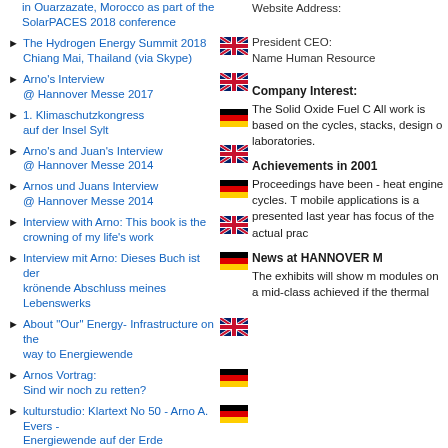in Ouarzazate, Morocco as part of the SolarPACES 2018 conference
The Hydrogen Energy Summit 2018 Chiang Mai, Thailand (via Skype)
Arno's Interview @ Hannover Messe 2017
1. Klimaschutzkongress auf der Insel Sylt
Arno's and Juan's Interview @ Hannover Messe 2014
Arnos und Juans Interview @ Hannover Messe 2014
Interview with Arno: This book is the crowning of my life's work
Interview mit Arno: Dieses Buch ist der krönende Abschluss meines Lebenswerks
About "Our" Energy- Infrastructure on the way to Energiewende
Arnos Vortrag: Sind wir noch zu retten?
kulturstudio: Klartext No 50 - Arno A. Evers - Energiewende auf der Erde
Arno's EnergieGedanken jetzt auch auf YouTube!
Fernseh-Sendung zum Thema Wasserstoff und Brennstoffzellen
Open Letter to Angela Merkel, Federal Chancellor of Germany, the founder and to all
Website Address:
President CEO:
Name Human Resource
Company Interest:
The Solid Oxide Fuel C All work is based on the cycles, stacks, design of laboratories.
Achievements in 2001
Proceedings have been - heat engine cycles. The mobile applications is a presented last year has focus of the actual prac
News at HANNOVER M
The exhibits will show m modules on a mid-class achieved if the thermal